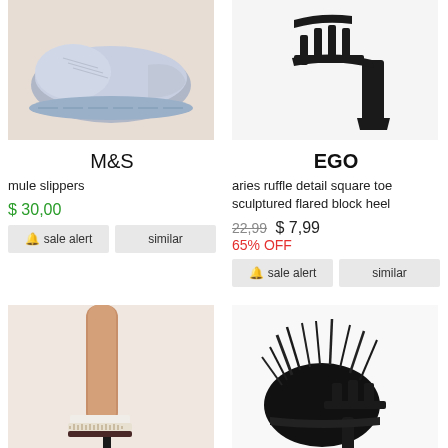[Figure (photo): Gray felt mule slippers with light blue sole on beige background]
[Figure (photo): Black strappy block heel sandals on white background]
M&S
EGO
mule slippers
aries ruffle detail square toe sculptured flared block heel
$ 30,00
22,99 $ 7,99 65% OFF
sale alert  similar
sale alert  similar
[Figure (photo): Person wearing high heel sandals with sherpa/shearling strap, beige and dark red]
[Figure (photo): Black feather/fluffy mule heels on white background]